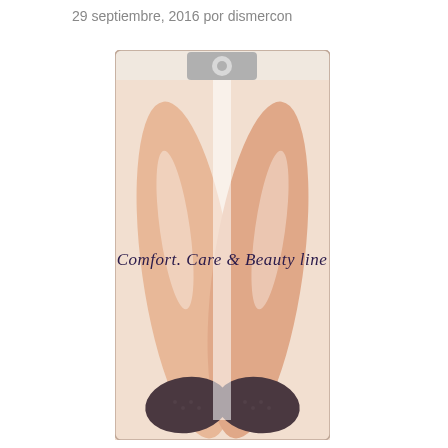29 septiembre, 2016 por dismercon
[Figure (photo): Product packaging image showing women's legs wearing hosiery/socks with text 'Comfort, Care & Beauty line' on the packaging. The package has a hanger tab at the top and shows legs in sheer stockings with dark toe socks at the bottom.]